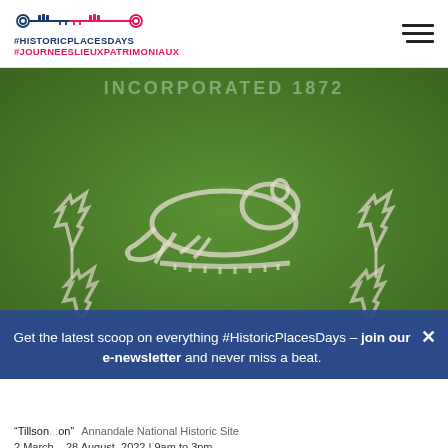#HISTORICPLACESDAYS #JOURNEESLIEUXPATRIMONIAUX
[Figure (photo): Aerial or close-up view of a lawn or grass field cut/mowed to show a beaver and maple leaves design with text 'INCORPORATED 1872' visible at top, rendered in grass patterns in white/light color on green background.]
Get the latest scoop on everything #HistoricPlacesDays – join our e-newsletter and never miss a beat.
"Tillson... on" Annandale National Historic Site
2 March – 28 August, 2022 | 9am to 3pm